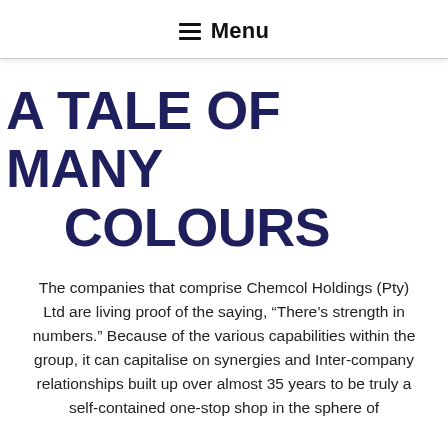Menu
A TALE OF MANY COLOURS
The companies that comprise Chemcol Holdings (Pty) Ltd are living proof of the saying, “There’s strength in numbers.” Because of the various capabilities within the group, it can capitalise on synergies and Inter-company relationships built up over almost 35 years to be truly a self-contained one-stop shop in the sphere of